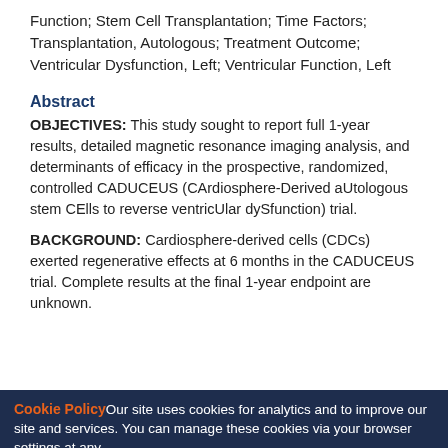Function; Stem Cell Transplantation; Time Factors; Transplantation, Autologous; Treatment Outcome; Ventricular Dysfunction, Left; Ventricular Function, Left
Abstract
OBJECTIVES: This study sought to report full 1-year results, detailed magnetic resonance imaging analysis, and determinants of efficacy in the prospective, randomized, controlled CADUCEUS (CArdiosphere-Derived aUtologous stem CElls to reverse ventricUlar dySfunction) trial.
BACKGROUND: Cardiosphere-derived cells (CDCs) exerted regenerative effects at 6 months in the CADUCEUS trial. Complete results at the final 1-year endpoint are unknown.
Cookie Policy Our site uses cookies for analytics and to improve our site and services. You can manage these cookies via your browser settings at any